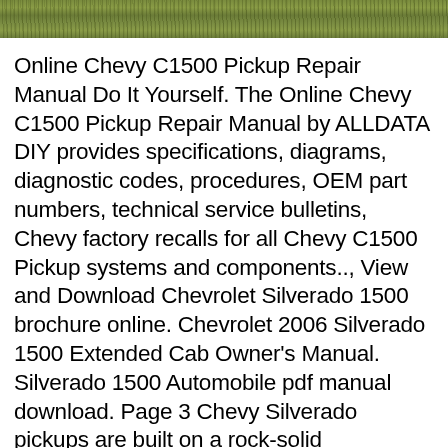[Figure (photo): Cropped photo of grass or ground cover, visible as a horizontal strip at the top of the page]
Online Chevy C1500 Pickup Repair Manual Do It Yourself. The Online Chevy C1500 Pickup Repair Manual by ALLDATA DIY provides specifications, diagrams, diagnostic codes, procedures, OEM part numbers, technical service bulletins, Chevy factory recalls for all Chevy C1500 Pickup systems and components.., View and Download Chevrolet Silverado 1500 brochure online. Chevrolet 2006 Silverado 1500 Extended Cab Owner's Manual. Silverado 1500 Automobile pdf manual download. Page 3 Chevy Silverado pickups are built on a rock-solid foundation, which was used to set an